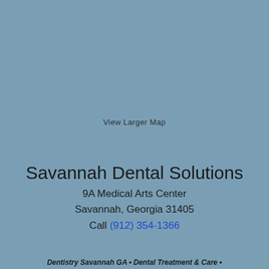View Larger Map
Savannah Dental Solutions
9A Medical Arts Center
Savannah, Georgia 31405
Call (912) 354-1366
Dentistry Savannah GA • Dental Treatment & Care •